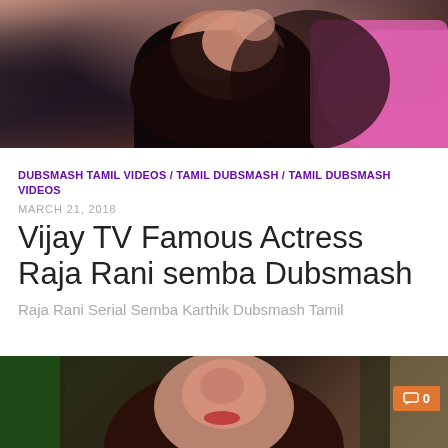[Figure (photo): Woman with dark hair wearing black top, light pink/magenta top visible in background, appears to be gesturing near face]
DUBSMASH TAMIL VIDEOS / TAMIL DUBSMASH / TAMIL DUBSMASH VIDEOS
MARCH 21, 2018
Vijay TV Famous Actress Raja Rani semba Dubsmash
Raja Rani Serial Semba Karthik Dubsmash Tamil
[Figure (photo): Close-up of woman's face with long dark hair, red lips, sitting in what appears to be a car, with orange comment badge showing '0']